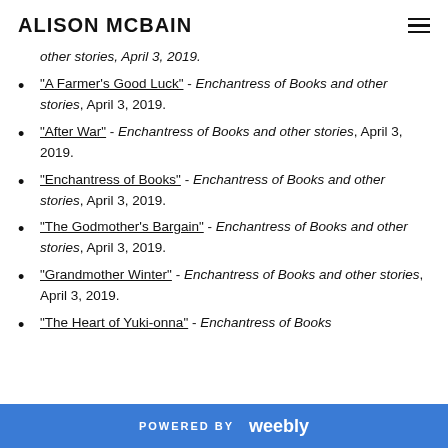ALISON MCBAIN
other stories, April 3, 2019.
"A Farmer's Good Luck" - Enchantress of Books and other stories, April 3, 2019.
"After War" - Enchantress of Books and other stories, April 3, 2019.
"Enchantress of Books" - Enchantress of Books and other stories, April 3, 2019.
"The Godmother's Bargain" - Enchantress of Books and other stories, April 3, 2019.
"Grandmother Winter" - Enchantress of Books and other stories, April 3, 2019.
"The Heart of Yuki-onna" - Enchantress of Books
POWERED BY weebly